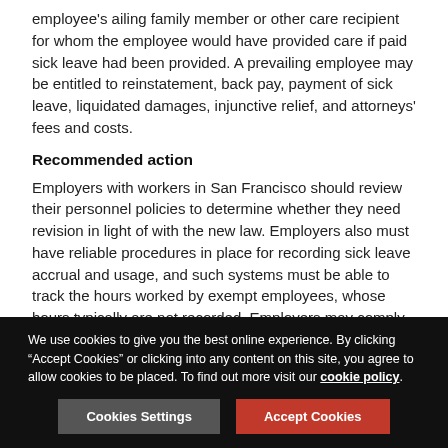employee's ailing family member or other care recipient for whom the employee would have provided care if paid sick leave had been provided. A prevailing employee may be entitled to reinstatement, back pay, payment of sick leave, liquidated damages, injunctive relief, and attorneys' fees and costs.
Recommended action
Employers with workers in San Francisco should review their personnel policies to determine whether they need revision in light of with the new law. Employers also must have reliable procedures in place for recording sick leave accrual and usage, and such systems must be able to track the hours worked by exempt employees, whose hours typically are not recorded. Employers may comply with the ordinance by providing “paid time off” or PTO benefits to employees.
We use cookies to give you the best online experience. By clicking “Accept Cookies” or clicking into any content on this site, you agree to allow cookies to be placed. To find out more visit our cookie policy.